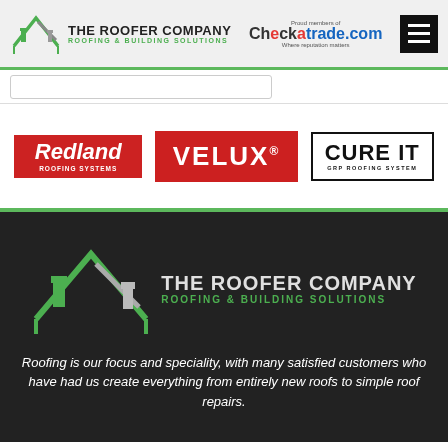[Figure (logo): The Roofer Company logo with green roof icon, company name and tagline 'ROOFING & BUILDING SOLUTIONS', Checkatrade.com badge, and hamburger menu button]
[Figure (logo): Redland Roofing Systems logo — red background with white italic text]
[Figure (logo): VELUX logo — red background with white bold text and registered trademark]
[Figure (logo): Cure It GRP Roofing System logo — black border with bold text]
[Figure (logo): The Roofer Company logo large version on dark background with green roof SVG icon]
Roofing is our focus and speciality, with many satisfied customers who have had us create everything from entirely new roofs to simple roof repairs.